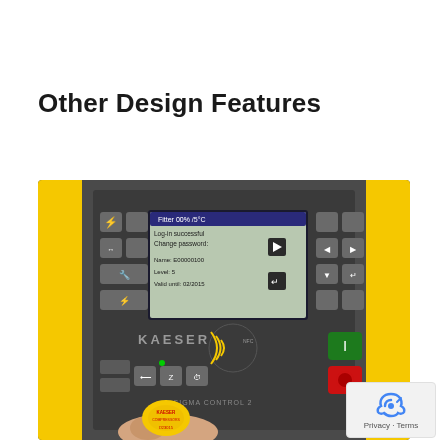Other Design Features
[Figure (photo): Close-up photo of a KAESER SIGMA CONTROL 2 compressor control panel. The gray panel has a digital display screen showing a login/password screen with fields: Name: E00000100, Level: 5, Valid until: 02/2015. The panel has various control buttons and indicators. Below the screen is the KAESER logo and an NFC/RFID reader area labeled SIGMA CONTROL 2 with green start and red stop buttons. A hand is holding a yellow KAESER COMPRESSORS keyfob/RFID tag up to the reader. The compressor cabinet has yellow side panels.]
Privacy · Terms